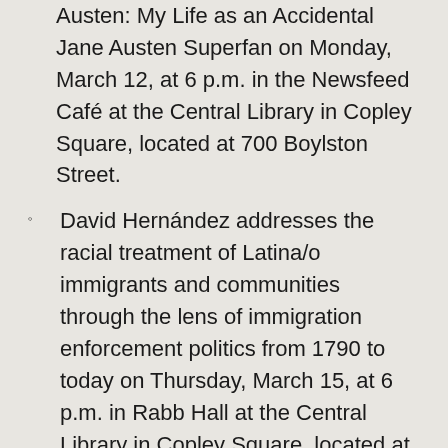Austen: My Life as an Accidental Jane Austen Superfan on Monday, March 12, at 6 p.m. in the Newsfeed Café at the Central Library in Copley Square, located at 700 Boylston Street.
David Hernández addresses the racial treatment of Latina/o immigrants and communities through the lens of immigration enforcement politics from 1790 to today on Thursday, March 15, at 6 p.m. in Rabb Hall at the Central Library in Copley Square, located at 700 Boylston Street.
John Schnelle shows attendees how to use the Irish Valuation Office Field Books to paint a detailed picture of the lives of their ancestors, including the limitations, possibilities, and hard realities they faced on Wednesday, March 21, at 6 p.m. in the Commonwealth Salon at the